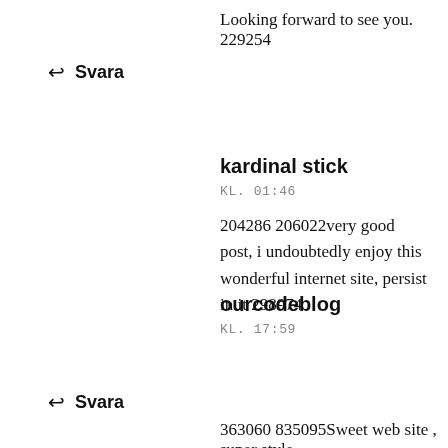Looking forward to see you. 229254
↩ Svara
kardinal stick
KL. 01:46
204286 206022very good post, i undoubtedly enjoy this wonderful internet site, persist in it 298974
↩ Svara
ourcodeblog
KL. 17:59
363060 835095Sweet web site , super style